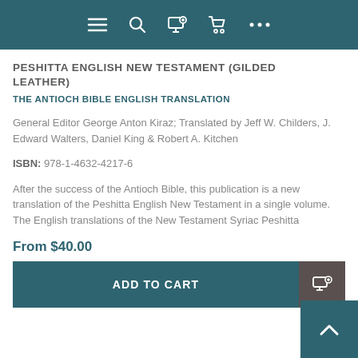Navigation bar with menu, search, wishlist, cart, and more icons
PESHITTA ENGLISH NEW TESTAMENT (GILDED LEATHER)
THE ANTIOCH BIBLE ENGLISH TRANSLATION
General Editor George Anton Kiraz; Translated by Jeff W. Childers, J. Edward Walters, Daniel King & Robert A. Kitchen
ISBN: 978-1-4632-4217-6
After the success of the Antioch Bible, this publication is a new translation of the Peshitta English New Testament in a single volume. The English translations of the New Testament Syriac Peshitta
From $40.00